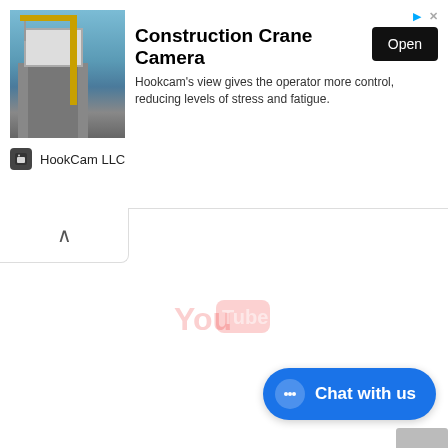[Figure (screenshot): Advertisement banner for HookCam LLC featuring Construction Crane Camera product with an image of a construction crane, ad title, description text, Open button, and HookCam LLC branding.]
Construction Crane Camera
Hookcam's view gives the operator more control, reducing levels of stress and fatigue.
[Figure (logo): YouTube logo watermark, faded/transparent, centered on page]
[Figure (logo): Instagram logo watermark, faded/transparent, centered on lower portion of page]
[Figure (other): Blue Chat with us button in bottom right corner with speech bubble icon]